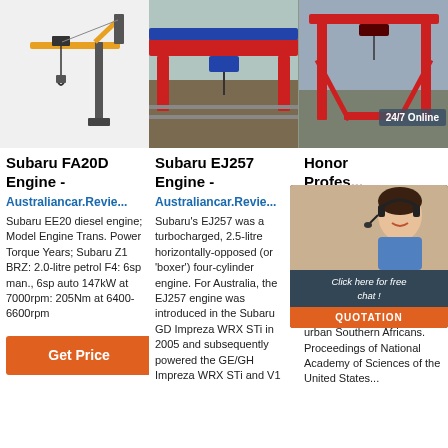[Figure (photo): Jib crane illustration on white background]
[Figure (photo): Red bridge/overhead crane on construction site]
[Figure (photo): Red gantry crane with '24/7 Online' badge overlay]
Subaru FA20D Engine - Australiancar.Reviews
Subaru EE20 diesel engine; Model Engine Trans. Power Torque Years; Subaru Z1 BRZ: 2.0-litre petrol F4: 6sp man., 6sp auto 147kW at 7000rpm: 205Nm at 6400-6600rpm
Get Price
Subaru EJ257 Engine - Australiancar.Reviews
Subaru's EJ257 was a turbocharged, 2.5-litre horizontally-opposed (or 'boxer') four-cylinder engine. For Australia, the EJ257 engine was introduced in the Subaru GD Impreza WRX STi in 2005 and subsequently powered the GE/GH Impreza WRX STi and V1
Honor Profes... Willk... (Camb...
2021-12... 18u200... dose vit... reduces deficiency caused by low UVB exposure and limits HIV-1 replication in urban Southern Africans. Proceedings of National Academy of Sciences of the United States...
[Figure (photo): Customer service representative with headset - chat popup with 'Click here for free chat!' and QUOTATION button]